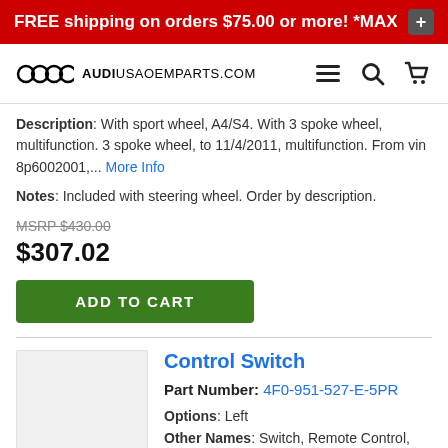FREE shipping on orders $75.00 or more! *MAX $25 dis
AUDIUSAOEMPARTS.COM
Description: With sport wheel, A4/S4. With 3 spoke wheel, multifunction. 3 spoke wheel, to 11/4/2011, multifunction. From vin 8p6002001,... More Info
Notes: Included with steering wheel. Order by description.
MSRP $430.00
$307.02
ADD TO CART
Control Switch
Part Number: 4F0-951-527-E-5PR
Options: Left
Other Names: Switch, Remote Control, Steering Wheel Radio Controls
Replaces: 4F0-951-527-5PR